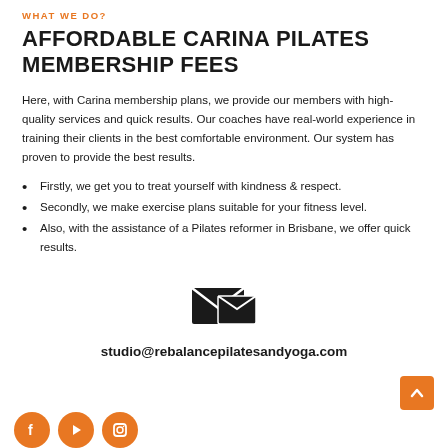WHAT WE DO?
AFFORDABLE CARINA PILATES MEMBERSHIP FEES
Here, with Carina membership plans, we provide our members with high-quality services and quick results. Our coaches have real-world experience in training their clients in the best comfortable environment. Our system has proven to provide the best results.
Firstly, we get you to treat yourself with kindness & respect.
Secondly, we make exercise plans suitable for your fitness level.
Also, with the assistance of a Pilates reformer in Brisbane, we offer quick results.
[Figure (illustration): Email/contact icon showing an envelope with overlapping email symbol in dark/black color]
studio@rebalancepilatesandyoga.com